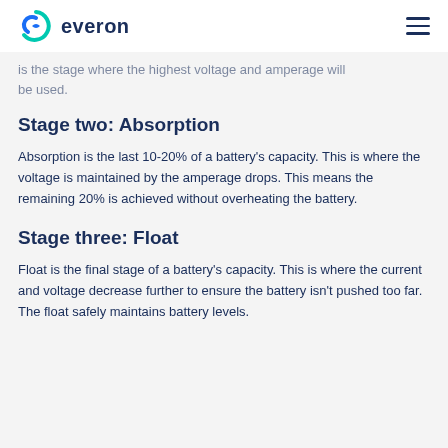everon
is the stage where the highest voltage and amperage will be used.
Stage two: Absorption
Absorption is the last 10-20% of a battery's capacity. This is where the voltage is maintained by the amperage drops. This means the remaining 20% is achieved without overheating the battery.
Stage three: Float
Float is the final stage of a battery's capacity. This is where the current and voltage decrease further to ensure the battery isn't pushed too far. The float safely maintains battery levels.